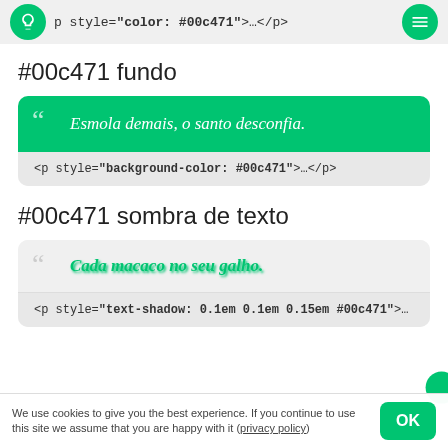p style="color: #00c471">…</p
#00c471 fundo
[Figure (illustration): Green background quote card showing text 'Esmola demais, o santo desconfia.' with code snippet below: <p style="background-color: #00c471">…</p>]
#00c471 sombra de texto
[Figure (illustration): Gray background quote card showing italic green text 'Cada macaco no seu galho.' with green text-shadow, and code snippet: <p style="text-shadow: 0.1em 0.1em 0.15em #00c471">…]
We use cookies to give you the best experience. If you continue to use this site we assume that you are happy with it (privacy policy)